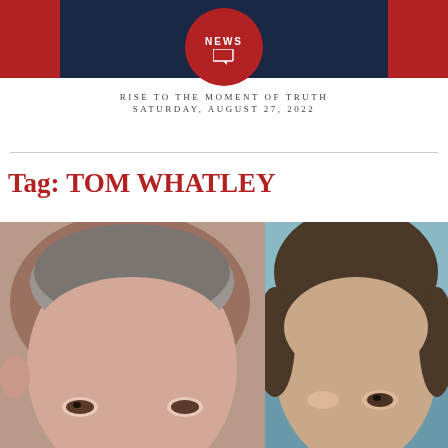NEWS — RISE TO THE MOMENT OF TRUTH — SATURDAY, AUGUST 27, 2022
RISE TO THE MOMENT OF TRUTH
SATURDAY, AUGUST 27, 2022
Tag: TOM WHATLEY
[Figure (photo): Two men's faces side by side: left man with gray hair, right man with darker longer hair against blue background]